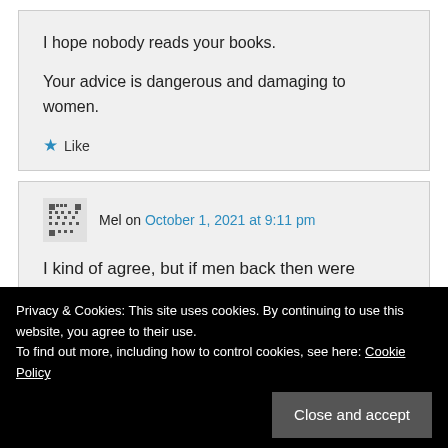I hope nobody reads your books.

Your advice is dangerous and damaging to women.
★ Like
Mel on October 1, 2021 at 9:11 pm
I kind of agree, but if men back then were strong and stood up to those women that
Privacy & Cookies: This site uses cookies. By continuing to use this website, you agree to their use.
To find out more, including how to control cookies, see here: Cookie Policy
Close and accept